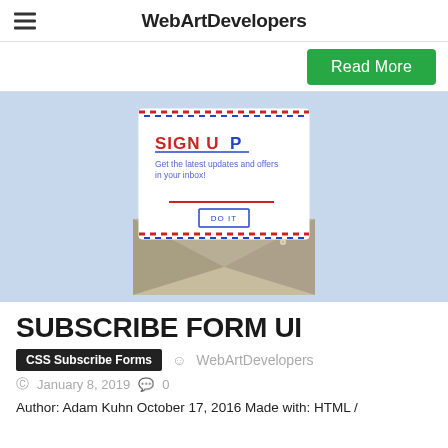WebArtDevelopers
[Figure (screenshot): Green 'Read More' button on white bar]
[Figure (illustration): CSS Subscribe Form UI illustration: an envelope with a white card showing SIGN UP text, email input field, and DO IT button, on a light blue background]
SUBSCRIBE FORM UI
CSS Subscribe Forms  WebArtDevelopers
January 8, 2019  0
Author: Adam Kuhn October 17, 2016 Made with: HTML /